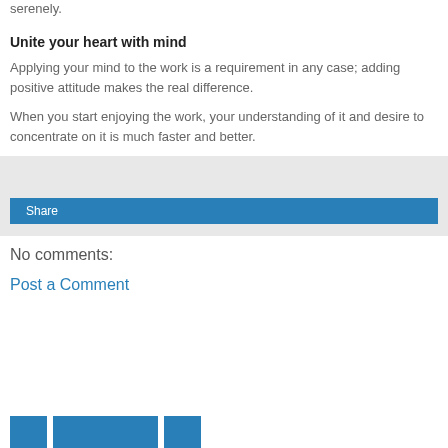serenely.
Unite your heart with mind
Applying your mind to the work is a requirement in any case; adding positive attitude makes the real difference.
When you start enjoying the work, your understanding of it and desire to concentrate on it is much faster and better.
[Figure (other): Share box with light gray background and a blue Share button]
No comments:
Post a Comment
[Figure (other): Bottom navigation buttons in blue]